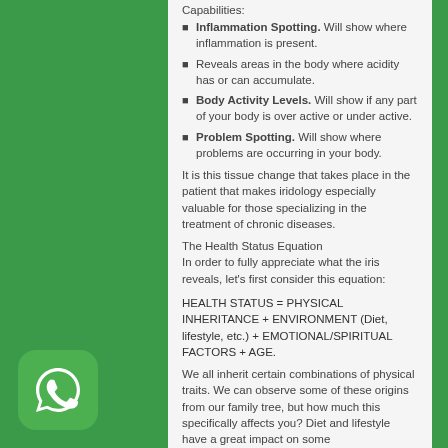Capabilities:
Inflammation Spotting. Will show where inflammation is present.
Reveals areas in the body where acidity has or can accumulate.
Body Activity Levels. Will show if any part of your body is over active or under active.
Problem Spotting. Will show where problems are occurring in your body.
It is this tissue change that takes place in the patient that makes iridology especially valuable for those specializing in the treatment of chronic diseases.
The Health Status Equation
In order to fully appreciate what the iris reveals, let's first consider this equation:
HEALTH STATUS = PHYSICAL INHERITANCE + ENVIRONMENT (Diet, lifestyle, etc.) + EMOTIONAL/SPIRITUAL FACTORS + AGE.
We all inherit certain combinations of physical traits. We can observe some of these origins from our family tree, but how much this specifically affects you? Diet and lifestyle have a great impact on some
[Figure (logo): WhatsApp app icon — green rounded square with white phone handset in speech bubble]